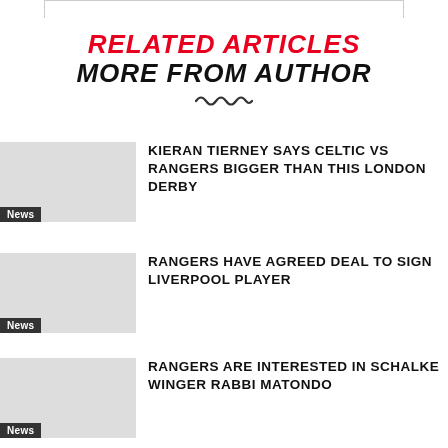RELATED ARTICLES MORE FROM AUTHOR
KIERAN TIERNEY SAYS CELTIC VS RANGERS BIGGER THAN THIS LONDON DERBY
RANGERS HAVE AGREED DEAL TO SIGN LIVERPOOL PLAYER
RANGERS ARE INTERESTED IN SCHALKE WINGER RABBI MATONDO